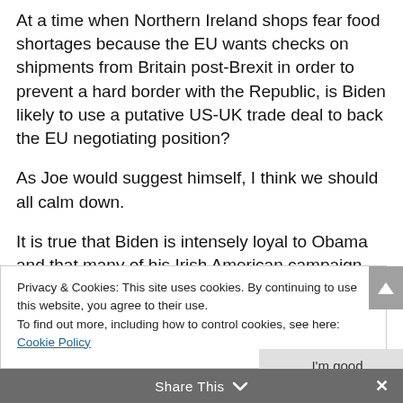At a time when Northern Ireland shops fear food shortages because the EU wants checks on shipments from Britain post-Brexit in order to prevent a hard border with the Republic, is Biden likely to use a putative US-UK trade deal to back the EU negotiating position?
As Joe would suggest himself, I think we should all calm down.
It is true that Biden is intensely loyal to Obama and that many of his Irish American campaign
Privacy & Cookies: This site uses cookies. By continuing to use this website, you agree to their use.
To find out more, including how to control cookies, see here: Cookie Policy
I'm good
Share This
American hyper-sentimental standards, Biden